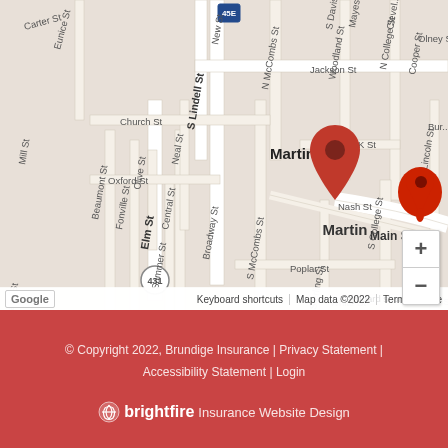[Figure (map): Google Maps street map centered on Martin, TN showing surrounding streets including S Lindell St, Broadway St, Main St, Elm St, and various cross streets. A red location pin marks a point on S Lindell St near the center of the map.]
© Copyright 2022, Brundige Insurance | Privacy Statement | Accessibility Statement | Login
brightfire Insurance Website Design